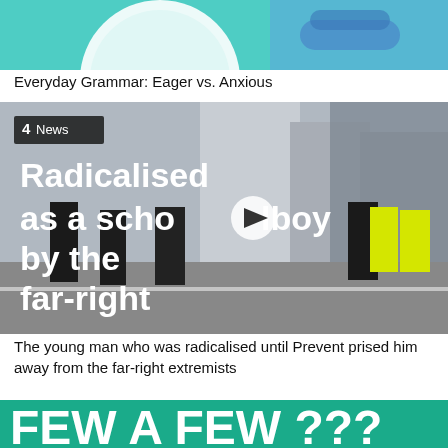[Figure (screenshot): Thumbnail image partially visible at top — person in denim shirt with teal/mint background]
Everyday Grammar: Eager vs. Anxious
[Figure (screenshot): Channel 4 News video thumbnail showing police officers on a street, with white bold text overlay reading 'Radicalised as a schoolboy by the far-right' and a play button icon in centre]
The young man who was radicalised until Prevent prised him away from the far-right extremists
[Figure (screenshot): Bottom partial thumbnail with teal/green background showing large white text 'FEW A FEW ???']